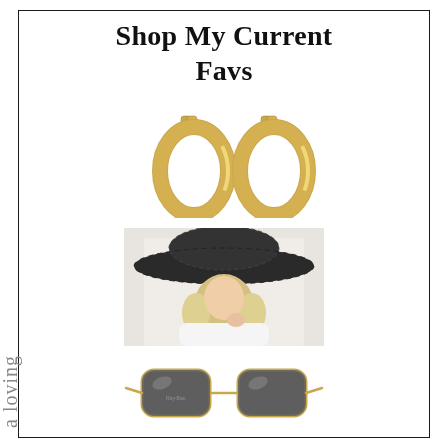Shop My Current Favs
[Figure (photo): Two gold chunky hoop earrings on white background]
[Figure (photo): Woman wearing a large black floppy straw hat and white top, with blonde hair]
[Figure (photo): Gold-framed round/hexagonal sunglasses with dark grey lenses]
a loving